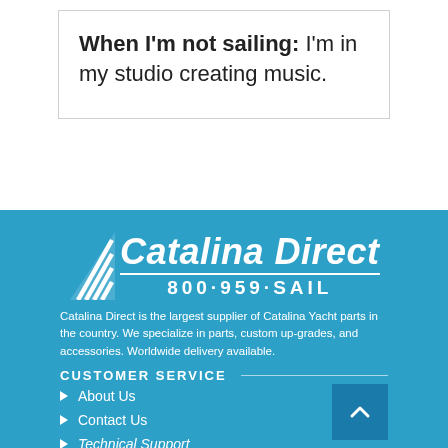When I'm not sailing: I'm in my studio creating music.
[Figure (logo): Catalina Direct logo with sail icon and phone number 800-959-SAIL]
Catalina Direct is the largest supplier of Catalina Yacht parts in the country. We specialize in parts, custom up-grades, and accessories. Worldwide delivery available.
CUSTOMER SERVICE
About Us
Contact Us
Technical Support